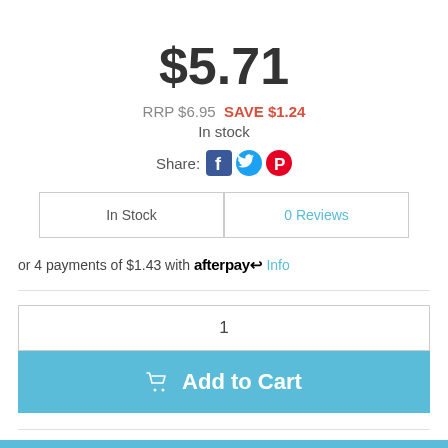$5.71
RRP $6.95  SAVE $1.24
In stock
Share: [Facebook] [Twitter] [Pinterest]
In Stock | 0 Reviews
or 4 payments of $1.43 with afterpay Info
1
Add to Cart